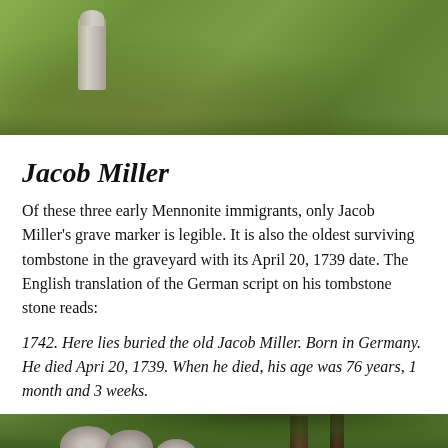[Figure (photo): Photograph of a gravestone in a grassy cemetery, showing a single stone marker in green grass]
Jacob Miller
Of these three early Mennonite immigrants, only Jacob Miller's grave marker is legible. It is also the oldest surviving tombstone in the graveyard with its April 20, 1739 date. The English translation of the German script on his tombstone stone reads:
1742. Here lies buried the old Jacob Miller. Born in Germany. He died Apri 20, 1739. When he died, his age was 76 years, 1 month and 3 weeks.
[Figure (photo): Photograph showing rounded stone grave markers on grass with trees in the background]